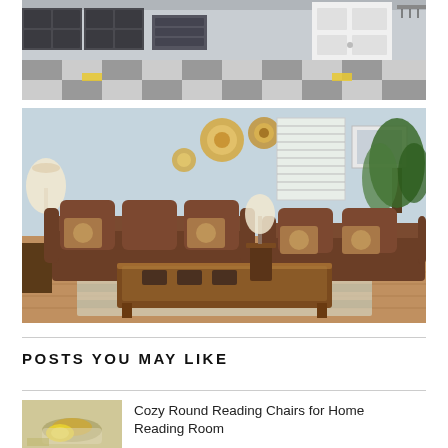[Figure (photo): Organized garage interior with dark storage cabinets along the back wall, a white door on the right, and a checkered black and gray floor pattern with yellow floor markers.]
[Figure (photo): Cozy living room with two brown fabric sofas with floral throw pillows, a wooden coffee table, a striped area rug, hardwood floors, decorative circular wall hangings, a floor lamp, and a tall indoor plant.]
POSTS YOU MAY LIKE
[Figure (photo): Thumbnail image of a cozy reading chair, yellow and white tones.]
Cozy Round Reading Chairs for Home Reading Room